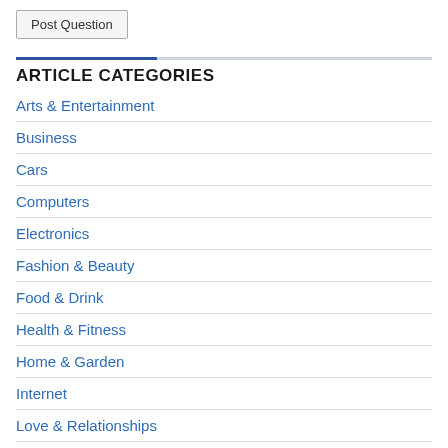Post Question
ARTICLE CATEGORIES
Arts & Entertainment
Business
Cars
Computers
Electronics
Fashion & Beauty
Food & Drink
Health & Fitness
Home & Garden
Internet
Love & Relationships
Money & Finance
Other
Pets & Animals